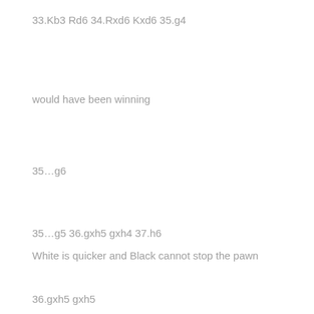33.Kb3 Rd6 34.Rxd6 Kxd6 35.g4
would have been winning
35…g6
35…g5 36.gxh5 gxh4 37.h6
White is quicker and Black cannot stop the pawn
36.gxh5 gxh5